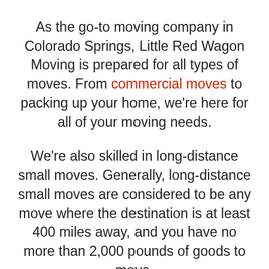As the go-to moving company in Colorado Springs, Little Red Wagon Moving is prepared for all types of moves. From commercial moves to packing up your home, we're here for all of your moving needs.
We're also skilled in long-distance small moves. Generally, long-distance small moves are considered to be any move where the destination is at least 400 miles away, and you have no more than 2,000 pounds of goods to move.
Whether you're moving your daughter back home from college or you want to ship the contents of your store as unit to your vacation